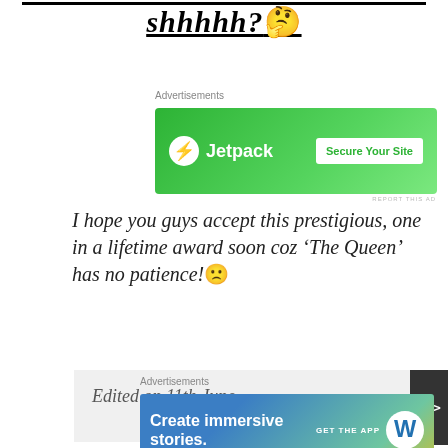shhhhh? 🤔
[Figure (other): Jetpack advertisement banner with green background, Jetpack logo and 'Secure Your Site' button]
I hope you guys accept this prestigious, one in a lifetime award soon coz 'The Queen' has no patience!🙁
Edited on 11th June
[Figure (other): WordPress advertisement banner: 'Create immersive stories. GET THE APP' with WordPress logo]